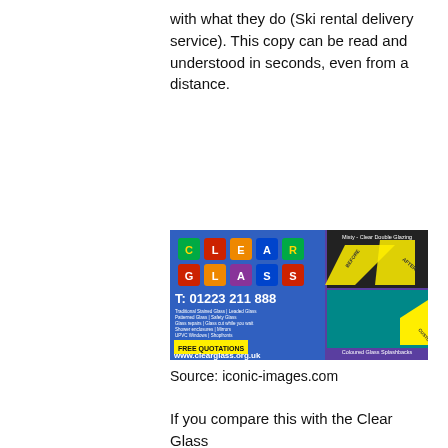with what they do (Ski rental delivery service). This copy can be read and understood in seconds, even from a distance.
[Figure (photo): Photo of a van with Clear Glass company branding on the side, showing coloured tiles spelling 'CLEAR GLASS', phone number T: 01223 211 888, list of services, 'FREE QUOTATIONS' banner, website www.clearglass.org.uk, and images of double glazing and coloured glass splashbacks.]
Source: iconic-images.com
If you compare this with the Clear Glass